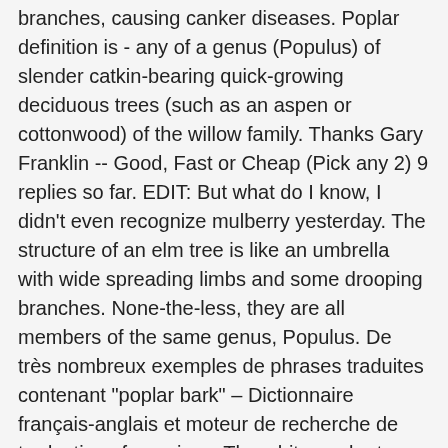branches, causing canker diseases. Poplar definition is - any of a genus (Populus) of slender catkin-bearing quick-growing deciduous trees (such as an aspen or cottonwood) of the willow family. Thanks Gary Franklin -- Good, Fast or Cheap (Pick any 2) 9 replies so far. EDIT: But what do I know, I didn't even recognize mulberry yesterday. The structure of an elm tree is like an umbrella with wide spreading limbs and some drooping branches. None-the-less, they are all members of the same genus, Populus. De très nombreux exemples de phrases traduites contenant "poplar bark" – Dictionnaire français-anglais et moteur de recherche de traductions françaises. The white poplar trees grows up to 20 meters and possesses bark that is light grey (sometimes mistaken as white) accompanied by black diamond like pores called lenticels. Peel the bark – The bark of birch trees can easily peel back and off the tree like paper. Cottonwood, Poplar, and Aspen (Populus) ... Young bark is typically light in color (often almost white), but it does not peel like birches. home | projects | blog. How long does it take to get poplar bark siding